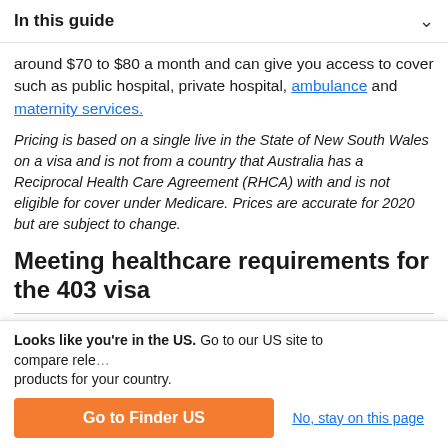In this guide
around $70 to $80 a month and can give you access to cover such as public hospital, private hospital, ambulance and maternity services.
Pricing is based on a single live in the State of New South Wales on a visa and is not from a country that Australia has a Reciprocal Health Care Agreement (RHCA) with and is not eligible for cover under Medicare. Prices are accurate for 2020 but are subject to change.
Meeting healthcare requirements for the 403 visa
If you are from one of the 11 countries Australia has a Reciprocal Health Care Agreement (RHCA) with, you will have
Looks like you're in the US. Go to our US site to compare relevant products for your country.
Go to Finder US
No, stay on this page